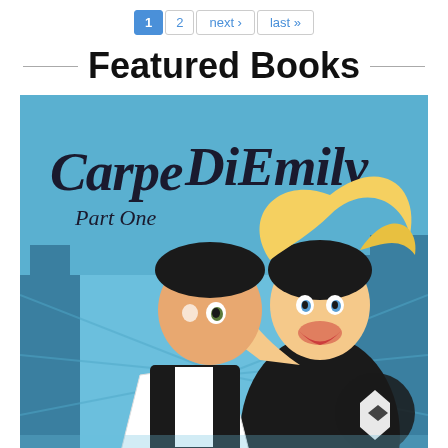1  2  next ›  last »
Featured Books
[Figure (illustration): Book cover for 'Carpe DiEmily Part One' showing two cartoon characters — a man in a white suit with his face covered by a woman's hand, and a blonde woman in black with an open mouth expression, set against a blue cityscape background.]